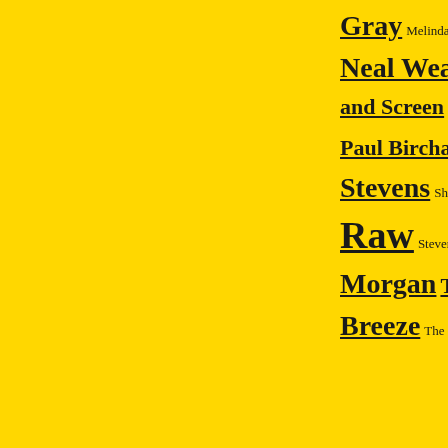Gray Melinda Schu
Neal Weaver
and Screen Pantage
Paul Birchall Pau
Stevens Sharon Per
Raw Steven L
Morgan Theate
Breeze The Holly